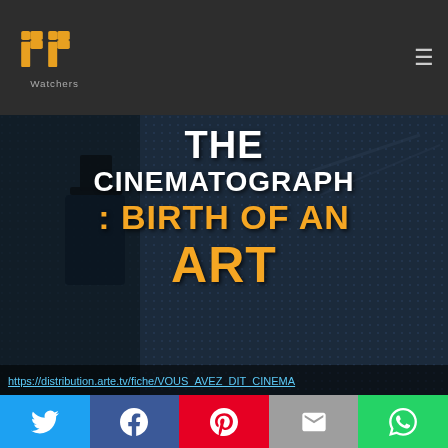PP Watchers logo and navigation
[Figure (screenshot): Dark cinematic background image showing a figure in a top hat with text overlay: THE CINEMATOGRAPH: BIRTH OF AN ART]
THE CINEMATOGRAPH: BIRTH OF AN ART
https://distribution.arte.tv/fiche/VOUS_AVEZ_DIT_CINEMA
Social share buttons: Twitter, Facebook, Pinterest, Email, WhatsApp